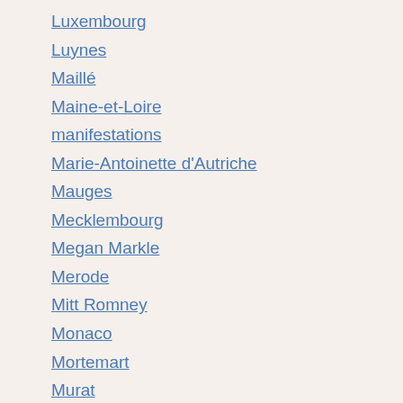Luxembourg
Luynes
Maillé
Maine-et-Loire
manifestations
Marie-Antoinette d'Autriche
Mauges
Mecklembourg
Megan Markle
Merode
Mitt Romney
Monaco
Mortemart
Murat
Musique
Noailles
Noblesse
Non classé
Normès